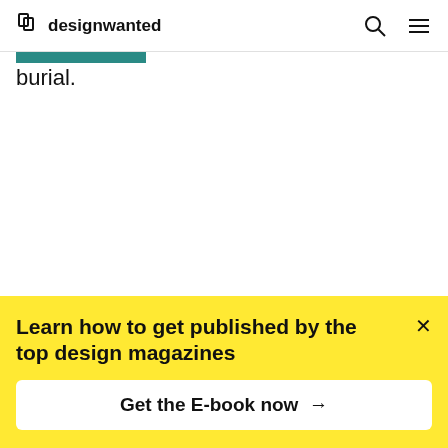designwanted
burial.
Learn how to get published by the top design magazines
Get the E-book now →